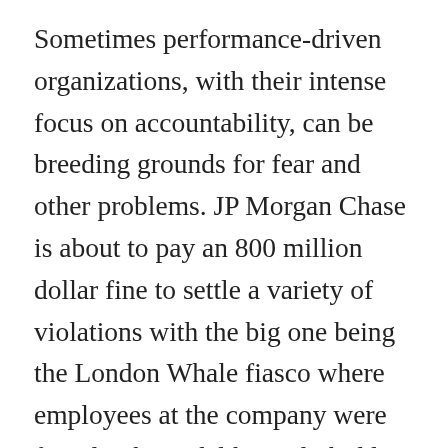Sometimes performance-driven organizations, with their intense focus on accountability, can be breeding grounds for fear and other problems. JP Morgan Chase is about to pay an 800 million dollar fine to settle a variety of violations with the big one being the London Whale fiasco where employees at the company were found to have deliberately hidden losses from senior management, regulators and the markets. The trust violation here is that JP Morgan Chase engaged in high-risk trading to increase profits, called it hedging and, when the bets went bad, they failed to report this material information in a timely manner to regulators and investors